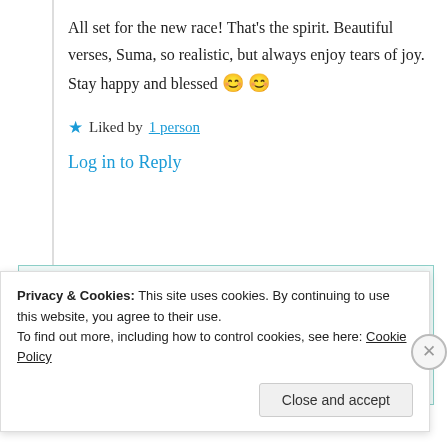All set for the new race! That's the spirit. Beautiful verses, Suma, so realistic, but always enjoy tears of joy. Stay happy and blessed 😊 😊
★ Liked by 1 person
Log in to Reply
Suma Reddy
26th Jun 2021 at 7:25 pm
Privacy & Cookies: This site uses cookies. By continuing to use this website, you agree to their use. To find out more, including how to control cookies, see here: Cookie Policy
Close and accept